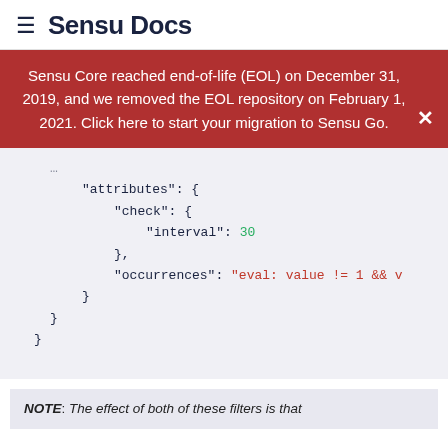≡ Sensu Docs
Sensu Core reached end-of-life (EOL) on December 31, 2019, and we removed the EOL repository on February 1, 2021. Click here to start your migration to Sensu Go.
[Figure (screenshot): JSON code block showing attributes with check interval 30 and occurrences eval expression, with nested closing braces]
NOTE: The effect of both of these filters is that